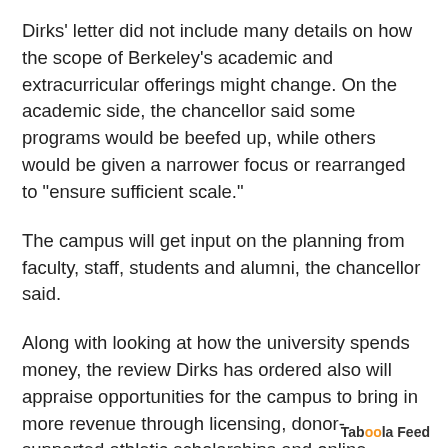Dirks' letter did not include many details on how the scope of Berkeley's academic and extracurricular offerings might change. On the academic side, the chancellor said some programs would be beefed up, while others would be given a narrower focus or rearranged to "ensure sufficient scale."
The campus will get input on the planning from faculty, staff, students and alumni, the chancellor said.
Along with looking at how the university spends money, the review Dirks has ordered also will appraise opportunities for the campus to bring in more revenue through licensing, donor-supported athletic scholarships and online courses, his letter said.
Taboola Feed